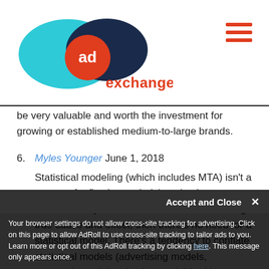[Figure (logo): AdExchanger logo with teal oval, dark navy oval, orange circle with 'ad' text, and 'exchanger' text in orange]
be very valuable and worth the investment for growing or established medium-to-large brands.
6. Myles Younger June 1, 2018
Statistical modeling (which includes MTA) isn't a means of reflecting or deriving absolute cause and effect. If you have some means of deriving true cause and effect, then there's no need for a statistical model. There's a tendency to conflate statistical models (advertising models, economic models, election models) with something like Newtonian physics, where you have a set of rules that very, very...
Accept and Close ×
Your browser settings do not allow cross-site tracking for advertising. Click on this page to allow AdRoll to use cross-site tracking to tailor ads to you. Learn more or opt out of this AdRoll tracking by clicking here. This message only appears once.